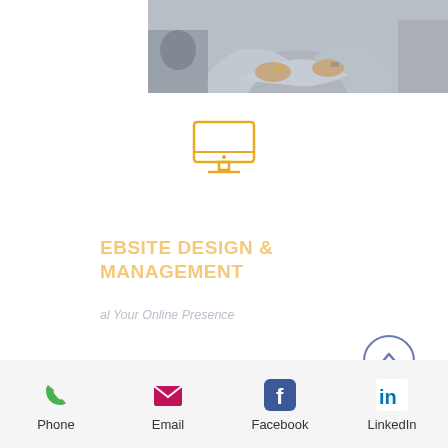[Figure (photo): Photo of a person with arms crossed wearing a grey long-sleeve shirt, cropped to mid-torso]
[Figure (illustration): Orange/gold outlined monitor/desktop computer icon]
WEBSITE DESIGN & MANAGEMENT
al Your Online Presence
[Figure (illustration): Back to top button: circle with upward chevron arrow, blue-purple border]
[Figure (infographic): Footer bar with four icons: Phone (green handset), Email (magenta envelope), Facebook (blue F logo), LinkedIn (blue in logo) with labels Phone, Email, Facebook, LinkedIn]